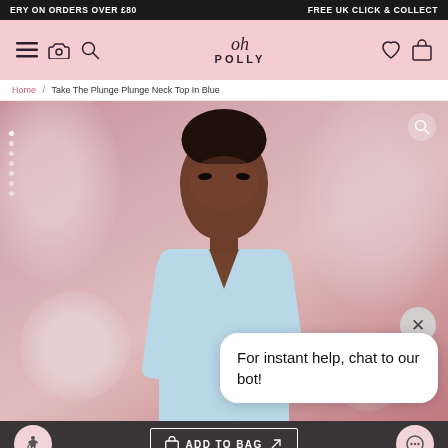ERY ON ORDERS OVER £80 | FREE UK CLICK & COLLECT
[Figure (screenshot): Oh Polly e-commerce website screenshot showing navigation bar with logo, product page for 'Take The Plunge Plunge Neck Top In Blue', model wearing light blue top, chat bot popup saying 'For instant help, chat to our bot!', and Add To Bag button at bottom]
Home / Take The Plunge Plunge Neck Top In Blue
For instant help, chat to our bot!